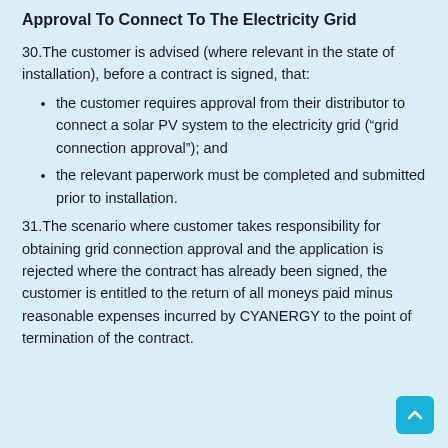Approval To Connect To The Electricity Grid
30.The customer is advised (where relevant in the state of installation), before a contract is signed, that:
the customer requires approval from their distributor to connect a solar PV system to the electricity grid (“grid connection approval”); and
the relevant paperwork must be completed and submitted prior to installation.
31.The scenario where customer takes responsibility for obtaining grid connection approval and the application is rejected where the contract has already been signed, the customer is entitled to the return of all moneys paid minus reasonable expenses incurred by CYANERGY to the point of termination of the contract.